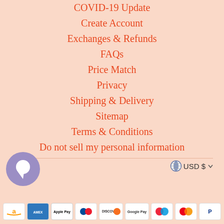COVID-19 Update
Create Account
Exchanges & Refunds
FAQs
Price Match
Privacy
Shipping & Delivery
Sitemap
Terms & Conditions
Do not sell my personal information
[Figure (other): Chat bubble icon - purple circle with white speech bubble]
USD $
[Figure (other): Payment method icons: Amazon, Amex, Apple Pay, Diners Club, Discover, Google Pay, Maestro, Mastercard, PayPal]